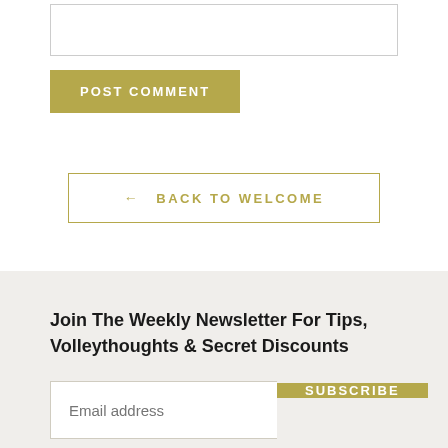[Figure (screenshot): Textarea input box (comment form field) at top of page]
POST COMMENT
← BACK TO WELCOME
Join The Weekly Newsletter For Tips, Volleythoughts & Secret Discounts
Email address
SUBSCRIBE